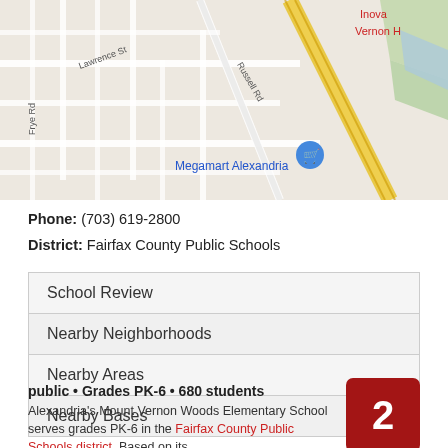[Figure (map): Google Maps view of Megamart Alexandria area with streets including Lawrence St, Russell Rd, Frye Rd, and a yellow highway. A blue shopping cart pin marks Megamart Alexandria. Red partial text 'Inova' and 'Vernon H' visible top right.]
Phone: (703) 619-2800
District: Fairfax County Public Schools
| School Review |
| Nearby Neighborhoods |
| Nearby Areas |
| Nearby Bases |
public • Grades PK-6 • 680 students
Alexandria's Mount Vernon Woods Elementary School serves grades PK-6 in the Fairfax County Public Schools district. Based on its
[Figure (other): GreatSchools Rating badge showing the number 2 in white on a dark red background]
GreatSchools Rating